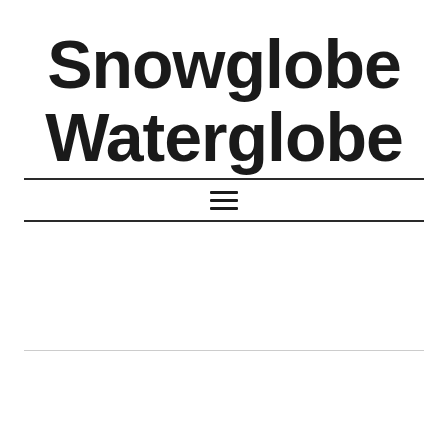Snowglobe Waterglobe
[Figure (other): Hamburger menu icon (three horizontal lines) between two horizontal rules, serving as a navigation bar]